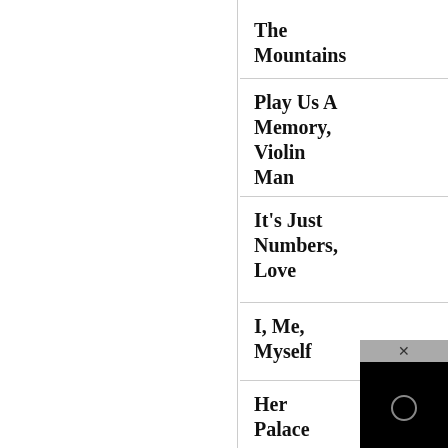The Mountains
Play Us A Memory, Violin Man
It's Just Numbers, Love
I, Me, Myself
Her Palace Of Dreams